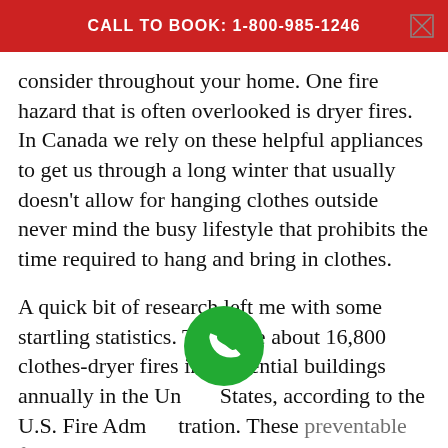CALL TO BOOK: 1-800-985-1246
consider throughout your home. One fire hazard that is often overlooked is dryer fires. In Canada we rely on these helpful appliances to get us through a long winter that usually doesn't allow for hanging clothes outside never mind the busy lifestyle that prohibits the time required to hang and bring in clothes.
A quick bit of research left me with some startling statistics. There are about 16,800 clothes-dryer fires in residential buildings annually in the United States, according to the U.S. Fire Administration. These preventable fires caused 15 deaths, 300